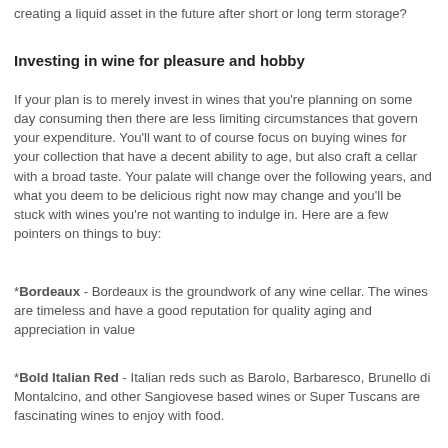creating a liquid asset in the future after short or long term storage?
Investing in wine for pleasure and hobby
If your plan is to merely invest in wines that you're planning on some day consuming then there are less limiting circumstances that govern your expenditure. You'll want to of course focus on buying wines for your collection that have a decent ability to age, but also craft a cellar with a broad taste. Your palate will change over the following years, and what you deem to be delicious right now may change and you'll be stuck with wines you're not wanting to indulge in. Here are a few pointers on things to buy:
*Bordeaux - Bordeaux is the groundwork of any wine cellar. The wines are timeless and have a good reputation for quality aging and appreciation in value
*Bold Italian Red - Italian reds such as Barolo, Barbaresco, Brunello di Montalcino, and other Sangiovese based wines or Super Tuscans are fascinating wines to enjoy with food.